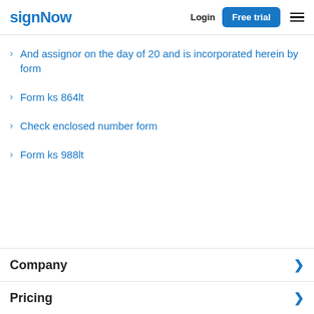signNow | Login | Free trial
And assignor on the day of 20 and is incorporated herein by form
Form ks 864lt
Check enclosed number form
Form ks 988lt
Company
Pricing